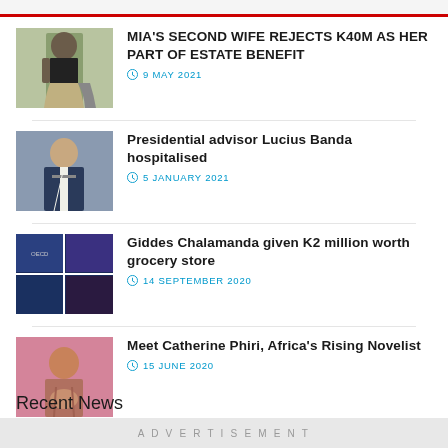[Figure (illustration): Top navigation bar with red underline accent]
[Figure (photo): Woman in grey skirt and black top]
MIA'S SECOND WIFE REJECTS K40M AS HER PART OF ESTATE BENEFIT
9 MAY 2021
[Figure (photo): Man in suit and tie]
Presidential advisor Lucius Banda hospitalised
5 JANUARY 2021
[Figure (photo): Collage of news images]
Giddes Chalamanda given K2 million worth grocery store
14 SEPTEMBER 2020
[Figure (photo): Young woman with pink background]
Meet Catherine Phiri, Africa's Rising Novelist
15 JUNE 2020
Recent News
ADVERTISEMENT